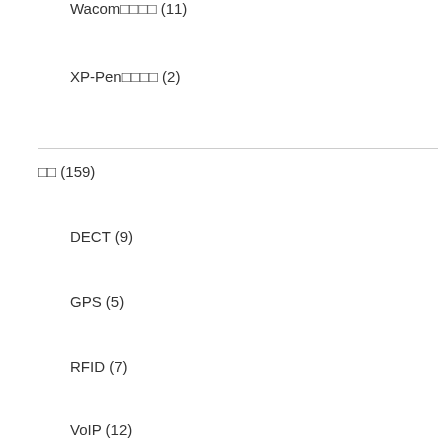Wacom□□□□ (11)
XP-Pen□□□□ (2)
□□ (159)
DECT (9)
GPS (5)
RFID (7)
VoIP (12)
□□□□□□□□ (6)
□□□□□□□ (26)
IPv6 (4)
VPN (5)
□□□□□□□□□□ (2)